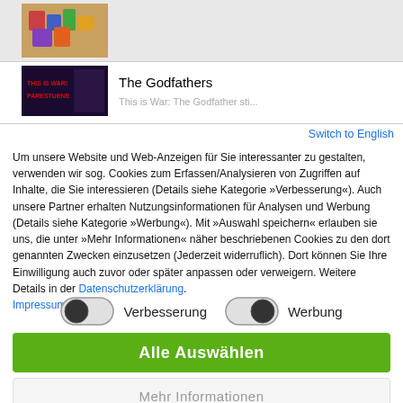[Figure (photo): Thumbnail of colorful wooden blocks stacked]
[Figure (photo): Thumbnail of The Godfathers album/book cover with dark background and red text]
The Godfathers
Switch to English
Um unsere Website und Web-Anzeigen für Sie interessanter zu gestalten, verwenden wir sog. Cookies zum Erfassen/Analysieren von Zugriffen auf Inhalte, die Sie interessieren (Details siehe Kategorie »Verbesserung«). Auch unsere Partner erhalten Nutzungsinformationen für Analysen und Werbung (Details siehe Kategorie »Werbung«). Mit »Auswahl speichern« erlauben sie uns, die unter »Mehr Informationen« näher beschriebenen Cookies zu den dort genannten Zwecken einzusetzen (Jederzeit widerruflich). Dort können Sie Ihre Einwilligung auch zuvor oder später anpassen oder verweigern. Weitere Details in der Datenschutzerklärung. Impressum
Verbesserung
Werbung
Alle Auswählen
Mehr Informationen
Nur notwendige Cookies